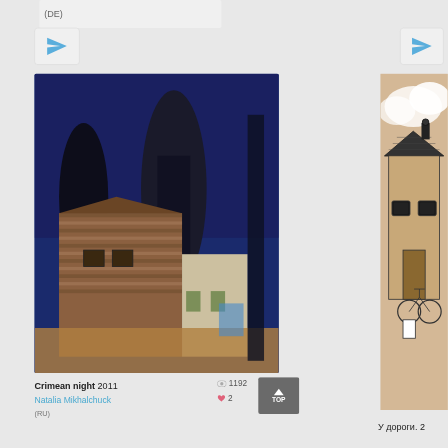(DE)
[Figure (illustration): Blue paper airplane / send icon button on light gray rounded rectangle background, left side]
[Figure (illustration): Blue paper airplane / send icon button on light gray rounded rectangle background, right side]
[Figure (photo): Painting titled 'Crimean night 2011' showing a stone building at night with dark blue sky and trees, by Natalia Mikhalchuck]
[Figure (illustration): Partial view of a sepia-toned pencil sketch/illustration of a building with a bicycle]
Crimean night 2011
Natalia Mikhalchuck
1192
2
TOP
У дороги. 2